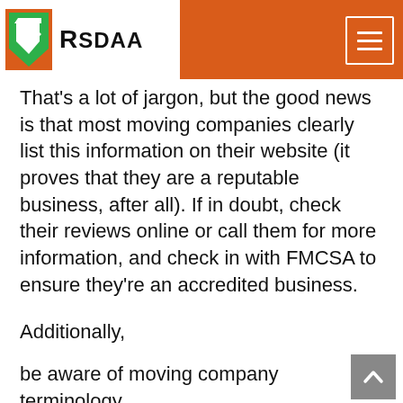RSDAA
That's a lot of jargon, but the good news is that most moving companies clearly list this information on their website (it proves that they are a reputable business, after all). If in doubt, check their reviews online or call them for more information, and check in with FMCSA to ensure they're an accredited business.
Additionally,
be aware of moving company terminology
. Know what an estimate
really
means and how to avoid sneaky markups. These tips will
help you spot moving scams